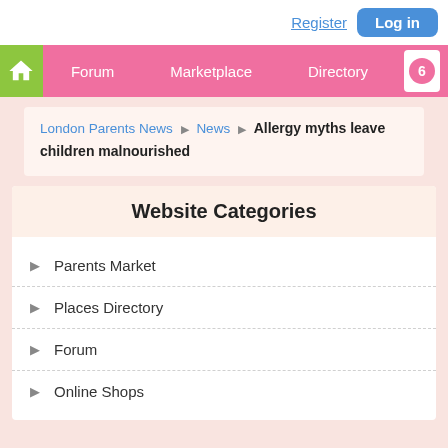Register  Log in
Forum  Marketplace  Directory  6
London Parents News ▶ News ▶ Allergy myths leave children malnourished
Website Categories
Parents Market
Places Directory
Forum
Online Shops